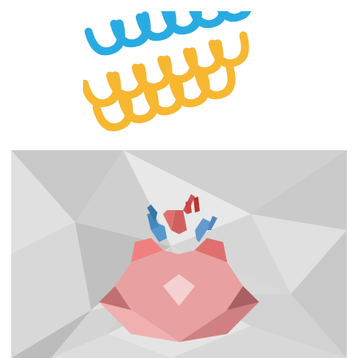[Figure (logo): Stylized logo made of blue and yellow repeating U-shaped/coil elements arranged in two rows, resembling a DNA or chain motif]
[Figure (illustration): Low-poly geometric illustration of a human anatomical heart in pink/red tones with blue vessels, on a grey polygonal geometric background]